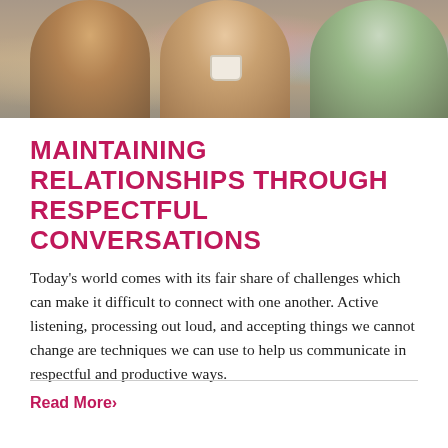[Figure (photo): Photo of two or three people socializing outdoors, appears to show older adults having a conversation, one holding a cup]
MAINTAINING RELATIONSHIPS THROUGH RESPECTFUL CONVERSATIONS
Today's world comes with its fair share of challenges which can make it difficult to connect with one another. Active listening, processing out loud, and accepting things we cannot change are techniques we can use to help us communicate in respectful and productive ways.
Read More >
[Figure (photo): Photo of multiple hands clasped together, appearing to show community or togetherness, with a small house shape visible at the bottom]